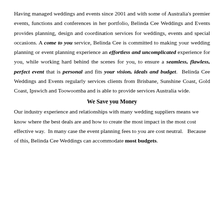Having managed weddings and events since 2001 and with some of Australia's premier events, functions and conferences in her portfolio, Belinda Cee Weddings and Events provides planning, design and coordination services for weddings, events and special occasions. A come to you service, Belinda Cee is committed to making your wedding planning or event planning experience an effortless and uncomplicated experience for you, while working hard behind the scenes for you, to ensure a seamless, flawless, perfect event that is personal and fits your vision, ideals and budget. Belinda Cee Weddings and Events regularly services clients from Brisbane, Sunshine Coast, Gold Coast, Ipswich and Toowoomba and is able to provide services Australia wide.
We Save you Money
Our industry experience and relationships with many wedding suppliers means we know where the best deals are and how to create the most impact in the most cost effective way. In many case the event planning fees to you are cost neutral. Because of this, Belinda Cee Weddings can accommodate most budgets.